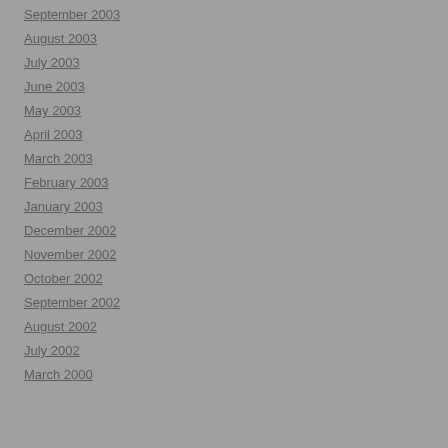September 2003
August 2003
July 2003
June 2003
May 2003
April 2003
March 2003
February 2003
January 2003
December 2002
November 2002
October 2002
September 2002
August 2002
July 2002
March 2000